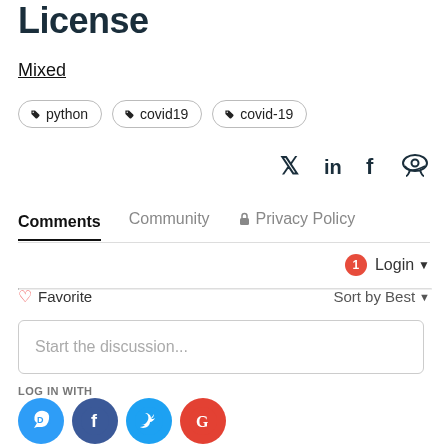License
Mixed
python  covid19  covid-19
[Figure (other): Social sharing icons: Twitter, LinkedIn, Facebook, Reddit]
Comments  Community  Privacy Policy
1  Login
♡ Favorite    Sort by Best
Start the discussion...
LOG IN WITH
[Figure (other): Social login icons: Disqus (blue speech bubble), Facebook (dark blue), Twitter (light blue), Google (red)]